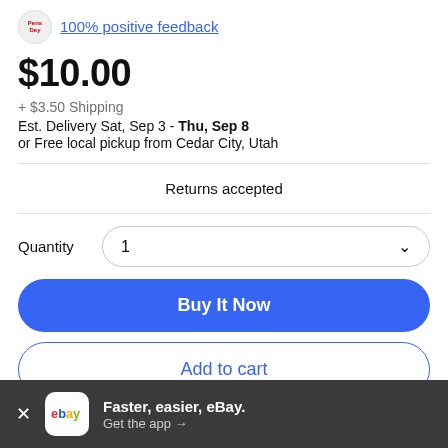100% positive feedback
$10.00
+ $3.50 Shipping
Est. Delivery Sat, Sep 3 - Thu, Sep 8
or Free local pickup from Cedar City, Utah
Returns accepted
Quantity  1
Buy It Now
Add to cart
Faster, easier, eBay.
Get the app →